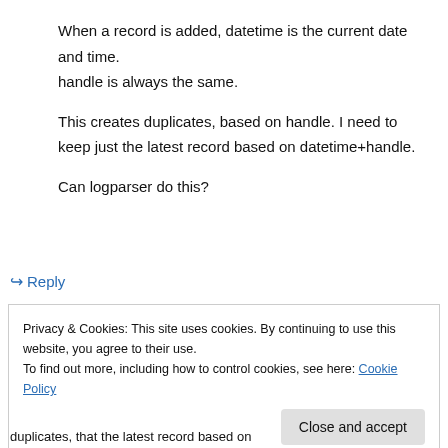When a record is added, datetime is the current date and time.
handle is always the same.
This creates duplicates, based on handle. I need to keep just the latest record based on datetime+handle.
Can logparser do this?
↪ Reply
Privacy & Cookies: This site uses cookies. By continuing to use this website, you agree to their use.
To find out more, including how to control cookies, see here: Cookie Policy
Close and accept